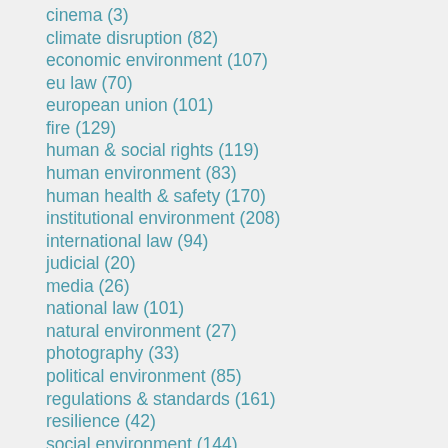cinema (3)
climate disruption (82)
economic environment (107)
eu law (70)
european union (101)
fire (129)
human & social rights (119)
human environment (83)
human health & safety (170)
institutional environment (208)
international law (94)
judicial (20)
media (26)
national law (101)
natural environment (27)
photography (33)
political environment (85)
regulations & standards (161)
resilience (42)
social environment (144)
sustainability (214)
sustainable design (143)